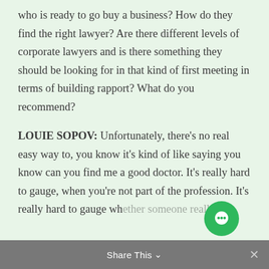who is ready to go buy a business? How do they find the right lawyer? Are there different levels of corporate lawyers and is there something they should be looking for in that kind of first meeting in terms of building rapport? What do you recommend?
LOUIE SOPOV: Unfortunately, there's no real easy way to, you know it's kind of like saying you know can you find me a good doctor. It's really hard to gauge, when you're not part of the profession. It's really hard to gauge whether someone really is
Share This